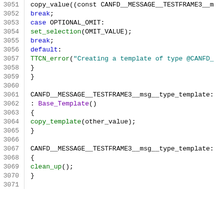Source code listing, lines 3051-3071, C++ style code with syntax highlighting